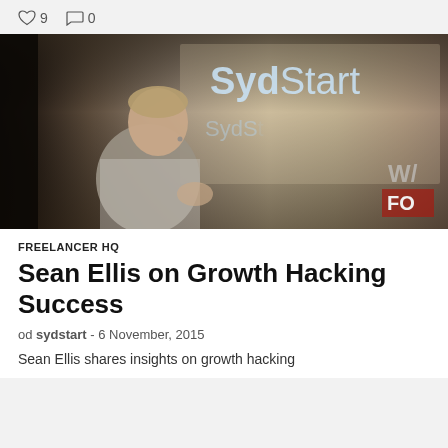♡ 9  ◯ 0
[Figure (photo): Man speaking on stage in front of a large SydStart projected logo/backdrop. The speaker is wearing a plaid shirt and holding something small. The SydStart logo shows blue and green wing/leaf design with the word SydStart in large letters.]
FREELANCER HQ
Sean Ellis on Growth Hacking Success
od sydstart - 6 November, 2015
Sean Ellis shares insights on growth hacking